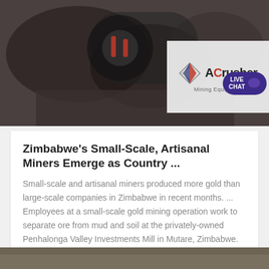[Figure (photo): Mining equipment photo showing ore processing machinery with ACrusher Mining Equipment logo overlay and Live Chat button]
Zimbabwe's Small-Scale, Artisanal Miners Emerge as Country ...
Small-scale and artisanal miners produced more gold than large-scale companies in Zimbabwe in recent months. ... Employees at a small-scale gold mining operation work to separate ore from mud and soil at the privately-owned Penhalonga Valley Investments Mill in Mutare, Zimbabwe. Small-scale gold miners outperformed large-scale operations in the ...
Get Price
[Figure (photo): Partial image visible at bottom of page]